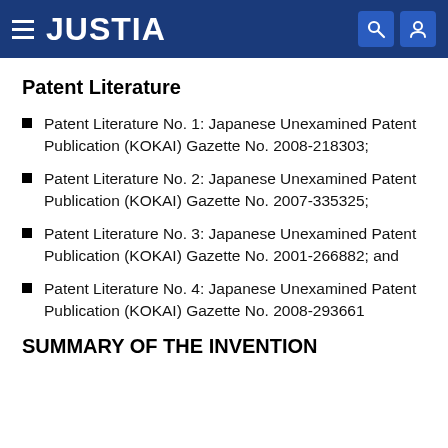JUSTIA
Patent Literature
Patent Literature No. 1: Japanese Unexamined Patent Publication (KOKAI) Gazette No. 2008-218303;
Patent Literature No. 2: Japanese Unexamined Patent Publication (KOKAI) Gazette No. 2007-335325;
Patent Literature No. 3: Japanese Unexamined Patent Publication (KOKAI) Gazette No. 2001-266882; and
Patent Literature No. 4: Japanese Unexamined Patent Publication (KOKAI) Gazette No. 2008-293661
SUMMARY OF THE INVENTION